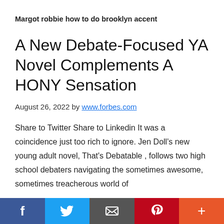Margot robbie how to do brooklyn accent
A New Debate-Focused YA Novel Complements A HONY Sensation
August 26, 2022 by www.forbes.com
Share to Twitter Share to Linkedin It was a coincidence just too rich to ignore. Jen Doll's new young adult novel, That's Debatable , follows two high school debaters navigating the sometimes awesome, sometimes treacherous world of